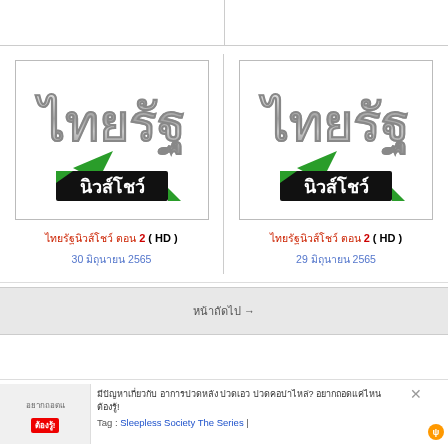[Figure (logo): Thairath news show logo - Thai text logo with metallic styling and green/black banner]
ไทยรัฐนิวส์โชว์ ตอน 2 ( HD )
30 มิถุนายน 2565
[Figure (logo): Thairath news show logo - Thai text logo with metallic styling and green/black banner]
ไทยรัฐนิวส์โชว์ ตอน 2 ( HD )
29 มิถุนายน 2565
หน้าถัดไป →
มีปัญหาเกี่ยวกับ อาการปวดหลัง ปวดเอว ปวดคอบ่าไหล่? อยากถอดแค่ไหน ต้องรู้!
Tag : Sleepless Society The Series |